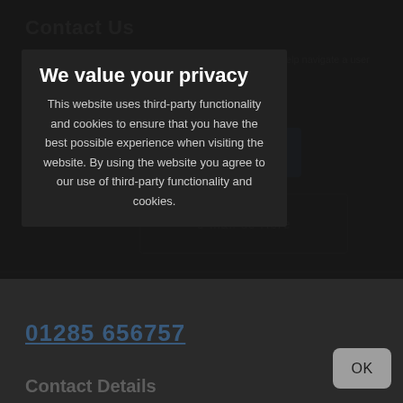Contact Us
[Figure (screenshot): Find us on Facebook button with Facebook logo icon]
[Figure (screenshot): e-mail us Here button with border outline]
01285 656757
Contact Details
We value your privacy
This website uses third-party functionality and cookies to ensure that you have the best possible experience when visiting the website. By using the website you agree to our use of third-party functionality and cookies.
[Figure (screenshot): OK button (rounded rectangle) for dismissing the privacy notice]